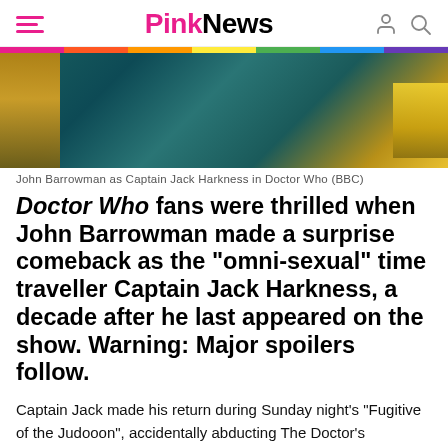PinkNews
[Figure (photo): John Barrowman as Captain Jack Harkness in Doctor Who, dark teal/blue toned scene with yellow accent]
John Barrowman as Captain Jack Harkness in Doctor Who (BBC)
Doctor Who fans were thrilled when John Barrowman made a surprise comeback as the “omni-sexual” time traveller Captain Jack Harkness, a decade after he last appeared on the show. Warning: Major spoilers follow.
Captain Jack made his return during Sunday night’s “Fugitive of the Judooon”, accidentally abducting The Doctor’s companions while trying to deliver a warning to the Time Lord (Jodie Whittaker).